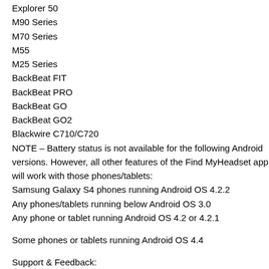Explorer 50
M90 Series
M70 Series
M55
M25 Series
BackBeat FIT
BackBeat PRO
BackBeat GO
BackBeat GO2
Blackwire C710/C720
NOTE – Battery status is not available for the following Android versions. However, all other features of the Find MyHeadset app will work with those phones/tablets:
Samsung Galaxy S4 phones running Android OS 4.2.2
Any phones/tablets running below Android OS 3.0
Any phone or tablet running Android OS 4.2 or 4.2.1
Some phones or tablets running Android OS 4.4
Support & Feedback: